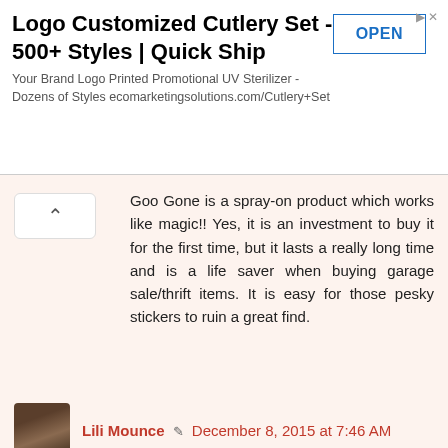[Figure (screenshot): Advertisement banner for Logo Customized Cutlery Set - 500+ Styles | Quick Ship with OPEN button]
Goo Gone is a spray-on product which works like magic!! Yes, it is an investment to buy it for the first time, but it lasts a really long time and is a life saver when buying garage sale/thrift items. It is easy for those pesky stickers to ruin a great find.
Lili Mounce ✏ December 8, 2015 at 7:46 AM
Thanks for the tip, Valarie!
Anonymous December 8, 2015 at 11:13 AM
I have found little bottles of Goo Gone at the Dollar Tree in the past. A little bottle lasts a long time, so I haven't looked for it lately there, but